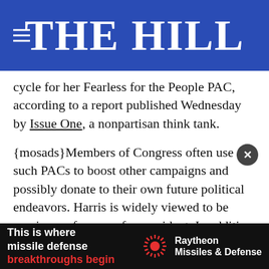THE HILL
cycle for her Fearless for the People PAC, according to a report published Wednesday by Issue One, a nonpartisan think tank.
{mosads}Members of Congress often use such PACs to boost other campaigns and possibly donate to their own future political endeavors. Harris is widely viewed to be gearing up for a run for president. In addition to her fundraising prowess, she has campaigned for Democratic candidates in early primary states such as Iowa and South Carolina.
If Harris runs, she would likely join a crowded Democratic field that would include former President Bernie Sanders (I-Vt.), Elizabeth Warren (D-Mass.) and Cory Booker (D-N.J.),
[Figure (other): Advertisement banner for Raytheon Missiles & Defense reading 'This is where missile defense breakthroughs begin']